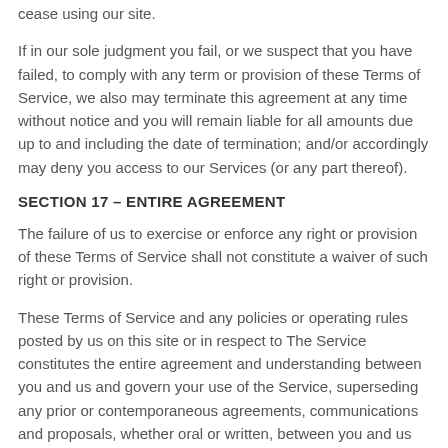cease using our site.
If in our sole judgment you fail, or we suspect that you have failed, to comply with any term or provision of these Terms of Service, we also may terminate this agreement at any time without notice and you will remain liable for all amounts due up to and including the date of termination; and/or accordingly may deny you access to our Services (or any part thereof).
SECTION 17 – ENTIRE AGREEMENT
The failure of us to exercise or enforce any right or provision of these Terms of Service shall not constitute a waiver of such right or provision.
These Terms of Service and any policies or operating rules posted by us on this site or in respect to The Service constitutes the entire agreement and understanding between you and us and govern your use of the Service, superseding any prior or contemporaneous agreements, communications and proposals, whether oral or written, between you and us (including, but not limited to, any prior versions of the Terms of Service).
Any ambiguities in the interpretation of these Terms of Service shall not be construed against the drafting party.